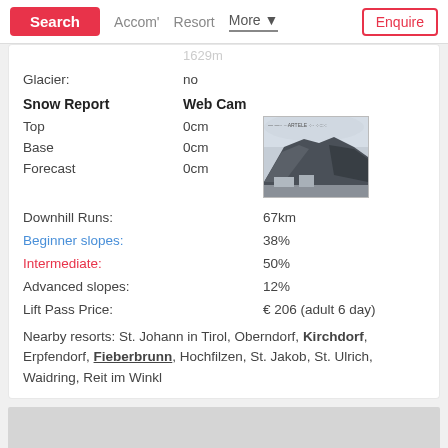Search | Accom' | Resort | More | Enquire
Glacier: no
Snow Report    Web Cam
Top    0cm
Base    0cm
Forecast    0cm
[Figure (photo): Webcam image of a mountain with buildings at base, grey cloudy sky]
Downhill Runs:    67km
Beginner slopes:    38%
Intermediate:    50%
Advanced slopes:    12%
Lift Pass Price:    € 206 (adult 6 day)
Nearby resorts: St. Johann in Tirol, Oberndorf, Kirchdorf, Erpfendorf, Fieberbrunn, Hochfilzen, St. Jakob, St. Ulrich, Waidring, Reit im Winkl